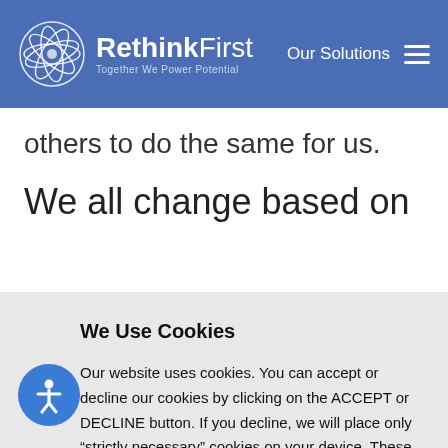RethinkFirst — Together We Power Potential | Our Solutions
others to do the same for us.
We all change based on
We Use Cookies
Our website uses cookies. You can accept or decline our cookies by clicking on the ACCEPT or DECLINE button. If you decline, we will place only “strictly necessary” cookies on your device. These are cookies that are essential for the website to function.
ACCEPT   DECLINE